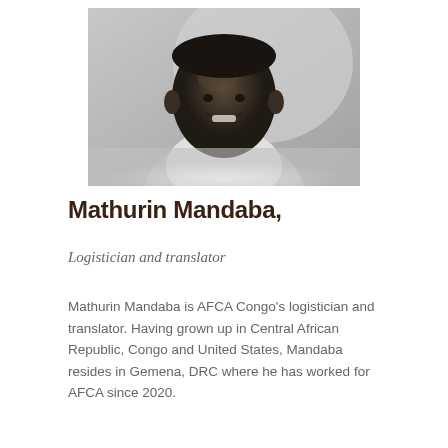[Figure (photo): Black and white portrait photo of Mathurin Mandaba, a smiling man wearing a white t-shirt, photographed from chest up.]
Mathurin Mandaba,
Logistician and translator
Mathurin Mandaba is AFCA Congo's logistician and translator. Having grown up in Central African Republic, Congo and United States, Mandaba resides in Gemena, DRC where he has worked for AFCA since 2020.